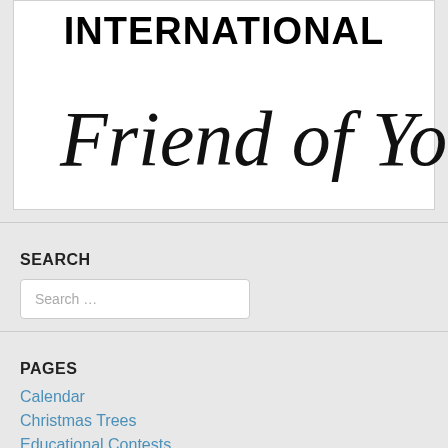[Figure (logo): International Friend of Youth organization logo. 'INTERNATIONAL' in bold black block letters at top, 'Friend of Youth' in handwritten cursive script below.]
SEARCH
Search …
PAGES
Calendar
Christmas Trees
Educational Contests
Funding Requests
Fundraising